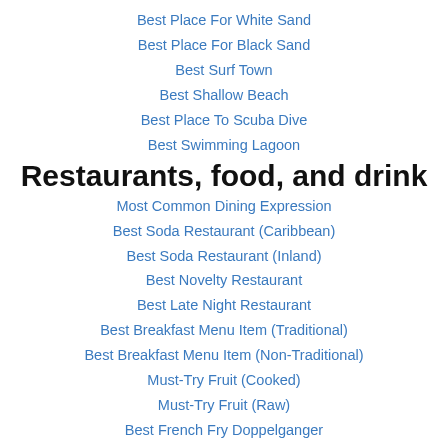Best Place For White Sand
Best Place For Black Sand
Best Surf Town
Best Shallow Beach
Best Place To Scuba Dive
Best Swimming Lagoon
Restaurants, food, and drink
Most Common Dining Expression
Best Soda Restaurant (Caribbean)
Best Soda Restaurant (Inland)
Best Novelty Restaurant
Best Late Night Restaurant
Best Breakfast Menu Item (Traditional)
Best Breakfast Menu Item (Non-Traditional)
Must-Try Fruit (Cooked)
Must-Try Fruit (Raw)
Best French Fry Doppelganger
Best Coffee